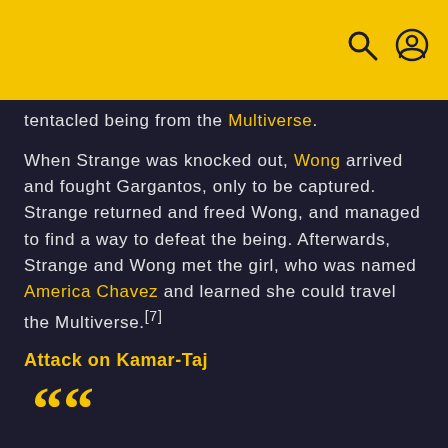[header bar with search and user icons]
tentacled being from the Multiverse.
When Strange was knocked out, Wong arrived and fought Gargantos, only to be captured. Strange returned and freed Wong, and managed to find a way to defeat the being. Afterwards, Strange and Wong met the girl, who was named America Chavez and learned she could travel the Multiverse.[7]
Attack on Kamar-Taj
Suspend teaching at once. And arm the students. Kamar-Taj must now become a fortress.
WONG